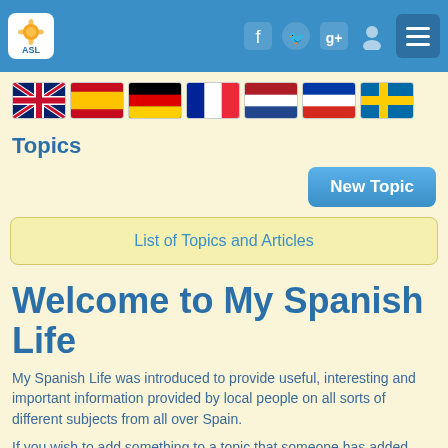ASL logo, navigation icons (Facebook, Twitter, Google+, Profile), menu button
[Figure (illustration): Row of country flags: UK, Spain, Germany, France, Netherlands, Russia, Sweden]
Topics
New Topic
List of Topics and Articles
Welcome to My Spanish Life
My Spanish Life was introduced to provide useful, interesting and important information provided by local people on all sorts of different subjects from all over Spain.
If you wish to add something to a topic that someone has added, which you feel is relevant then you can by simply clicking the NEW ARTICLE button on that topic and use the tools provided